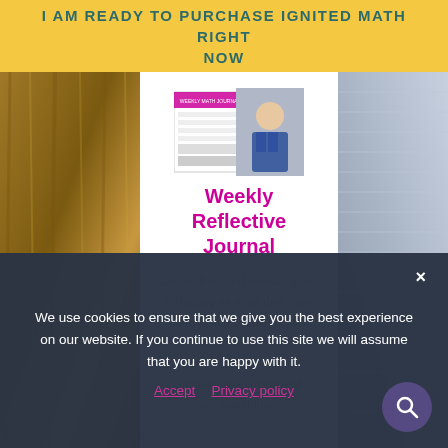I AM READY TO PURCHASE IGNITED MATH RIGHT NOW
[Figure (photo): Product thumbnail showing a Weekly Reflective Journal worksheet alongside a photo of a woman sitting]
Weekly Reflective Journal
Get students self assessing and reflecting on what they have learned and practiced each week. These weekly check-ins provide support, assessment and accountability.
We use cookies to ensure that we give you the best experience on our website. If you continue to use this site we will assume that you are happy with it.
Accept  Privacy policy